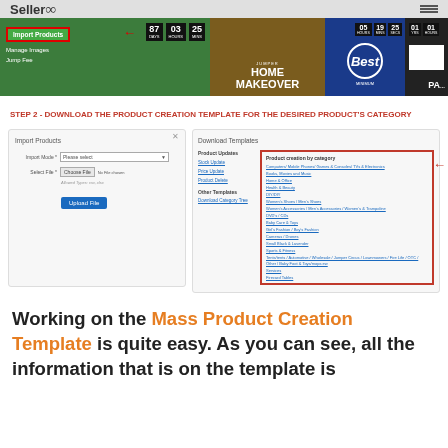SellerPro
[Figure (screenshot): Screenshot strip showing Import Products menu in green sidebar with red arrow, countdown timers, Home Makeover banner, Best circular badge, and dark panel]
STEP 2 - DOWNLOAD THE PRODUCT CREATION TEMPLATE FOR THE DESIRED PRODUCT'S CATEGORY
[Figure (screenshot): Screenshot of Import Products panel on left with form fields (Import Mode, Select File, Upload File button) and Download Templates panel on right showing Product Updates and Product creation by category columns with a red arrow pointing to category list]
Working on the Mass Product Creation Template is quite easy. As you can see, all the information that is on the template is